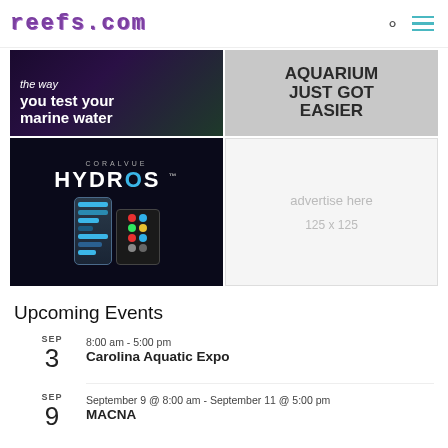reefs.com
[Figure (photo): Dark underwater-themed ad: 'the way you test your marine water' in white bold text on dark blue/green background]
[Figure (photo): Gray background ad: 'AQUARIUM JUST GOT EASIER' in large bold dark text]
[Figure (photo): CoralVue HYDROS ad showing phone and controller device on dark background]
[Figure (photo): Advertise here placeholder: 125 x 125]
Upcoming Events
SEP 3 — 8:00 am - 5:00 pm — Carolina Aquatic Expo
SEP 9 — September 9 @ 8:00 am - September 11 @ 5:00 pm — MACNA